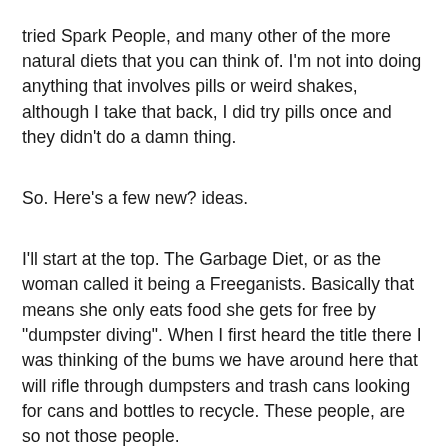tried Spark People, and many other of the more natural diets that you can think of. I'm not into doing anything that involves pills or weird shakes, although I take that back, I did try pills once and they didn't do a damn thing.
So. Here's a few new? ideas.
I'll start at the top. The Garbage Diet, or as the woman called it being a Freeganists. Basically that means she only eats food she gets for free by "dumpster diving". When I first heard the title there I was thinking of the bums we have around here that will rifle through dumpsters and trash cans looking for cans and bottles to recycle. These people, are so not those people.
Freeganist to me sounded more along the lines of "recyclers" and less about the diet. The story shows how they go on "tours" of where they can get the "goods". I think she said she lives in Brooklyn, and it looked like basically they hit the garbage cans of the stores and restaurants. Places that would throw out day old food and food that was getting close to the sell by date and such. It sounds nasty but you could